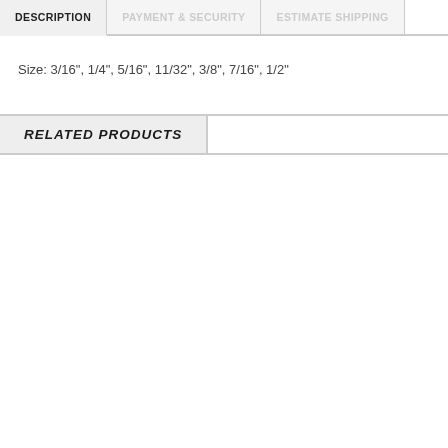DESCRIPTION | PAYMENT & SECURITY | ESTIMATE SHIPPING
Size: 3/16", 1/4", 5/16", 11/32", 3/8", 7/16", 1/2"
RELATED PRODUCTS